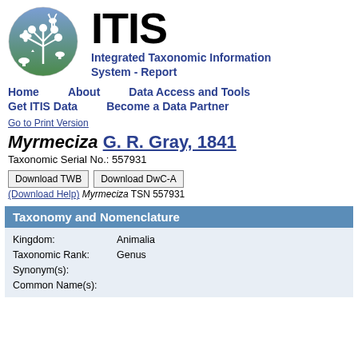[Figure (logo): ITIS circular logo with deer, plants, mushroom, owl on blue-green gradient background]
ITIS
Integrated Taxonomic Information System - Report
Home   About   Data Access and Tools
Get ITIS Data   Become a Data Partner
Go to Print Version
Myrmeciza G. R. Gray, 1841
Taxonomic Serial No.: 557931
Download TWB   Download DwC-A
(Download Help) Myrmeciza TSN 557931
Taxonomy and Nomenclature
| Field | Value |
| --- | --- |
| Kingdom: | Animalia |
| Taxonomic Rank: | Genus |
| Synonym(s): |  |
| Common Name(s): |  |